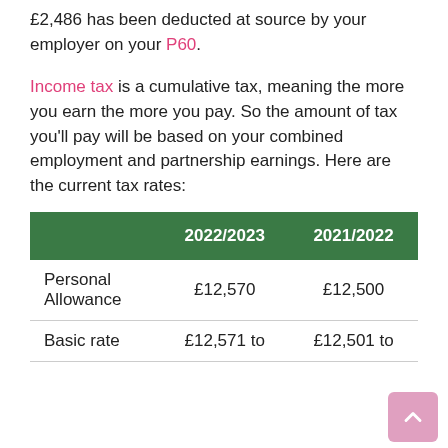£2,486 has been deducted at source by your employer on your P60.
Income tax is a cumulative tax, meaning the more you earn the more you pay. So the amount of tax you'll pay will be based on your combined employment and partnership earnings. Here are the current tax rates:
|  | 2022/2023 | 2021/2022 |
| --- | --- | --- |
| Personal Allowance | £12,570 | £12,500 |
| Basic rate | £12,571 to | £12,501 to |